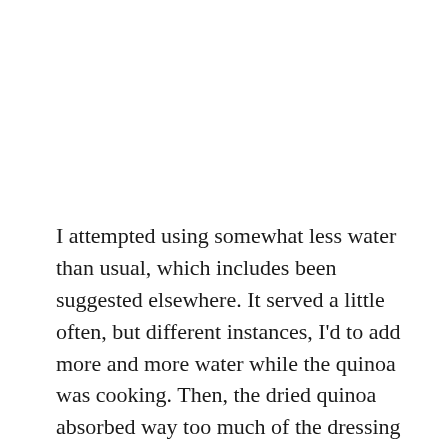I attempted using somewhat less water than usual, which includes been suggested elsewhere. It served a little often, but different instances, I'd to add more and more water while the quinoa was cooking. Then, the dried quinoa absorbed way too much of the dressing I included later.
Why must Southern